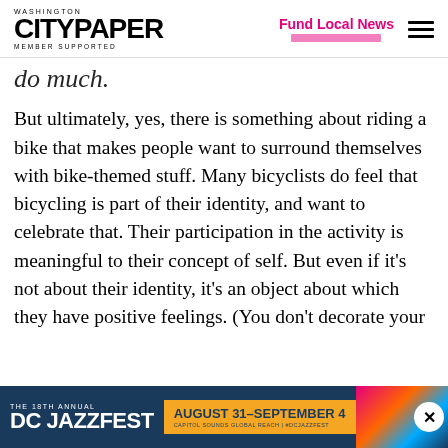Washington City Paper — Member Supported | Fund Local News
do much.
But ultimately, yes, there is something about riding a bike that makes people want to surround themselves with bike-themed stuff. Many bicyclists do feel that bicycling is part of their identity, and want to celebrate that. Their participation in the activity is meaningful to their concept of self. But even if it’s not about their identity, it’s an object about which they have positive feelings. (You don’t decorate your
[Figure (screenshot): DC Jazzfest advertisement banner: The 18th Annual DC Jazzfest, August 31-September 4, Capitol Sounds Global Reach | #DCJAZZFEST, with colorful graphic elements]